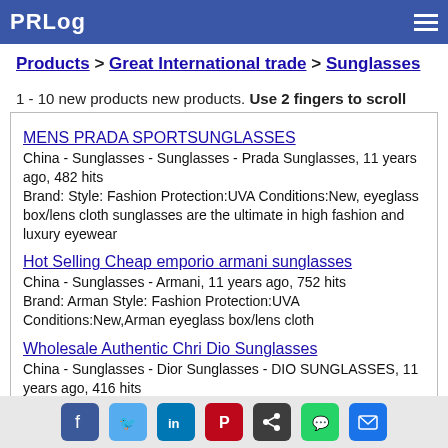PRLog
Products > Great International trade > Sunglasses
1 - 10 new products new products. Use 2 fingers to scroll
MENS PRADA SPORTSUNGLASSES
China - Sunglasses - Sunglasses - Prada Sunglasses, 11 years ago, 482 hits
Brand: Style: Fashion Protection:UVA Conditions:New, eyeglass box/lens cloth sunglasses are the ultimate in high fashion and luxury eyewear
Hot Selling Cheap emporio armani sunglasses
China - Sunglasses - Armani, 11 years ago, 752 hits
Brand: Arman Style: Fashion Protection:UVA Conditions:New,Arman eyeglass box/lens cloth
Wholesale Authentic Chri Dio Sunglasses
China - Sunglasses - Dior Sunglasses - DIO SUNGLASSES, 11 years ago, 416 hits
Style: Fashion Protection:UVA Conditions:New, DIO eyeglass
Social share icons: Facebook, Twitter, LinkedIn, Pinterest, Share, WhatsApp, Email